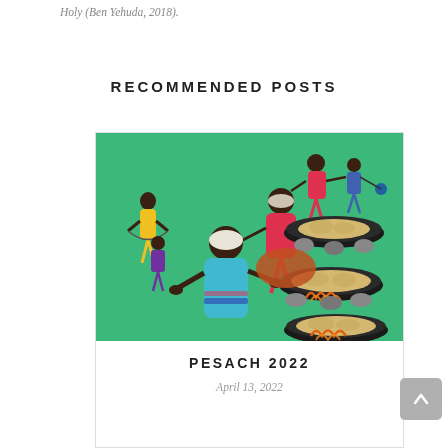Holy (Ben Yehuda, 2018).
RECOMMENDED POSTS
[Figure (illustration): Colorful folk art painting of Ethiopian/African women baking matzah (flatbread) on round griddles over fires, with children playing in the background on a green background.]
PESACH 2022
April 13, 2022